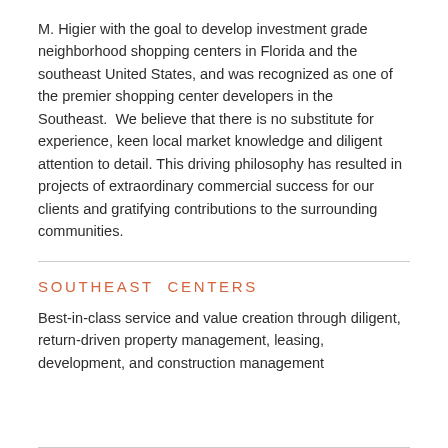M. Higier with the goal to develop investment grade neighborhood shopping centers in Florida and the southeast United States, and was recognized as one of the premier shopping center developers in the Southeast.  We believe that there is no substitute for experience, keen local market knowledge and diligent attention to detail. This driving philosophy has resulted in projects of extraordinary commercial success for our clients and gratifying contributions to the surrounding communities.
SOUTHEAST CENTERS
Best-in-class service and value creation through diligent, return-driven property management, leasing, development, and construction management